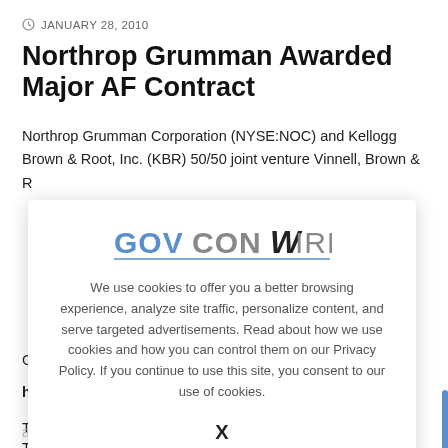JANUARY 28, 2010
Northrop Grumman Awarded Major AF Contract
Northrop Grumman Corporation (NYSE:NOC) and Kellogg Brown & Root, Inc. (KBR) 50/50 joint venture Vinnell, Brown & R
[Figure (logo): GovConWire logo with blue and gray stylized text]
We use cookies to offer you a better browsing experience, analyze site traffic, personalize content, and serve targeted advertisements. Read about how we use cookies and how you can control them on our Privacy Policy. If you continue to use this site, you consent to our use of cookies.
X
a five year contract, with a